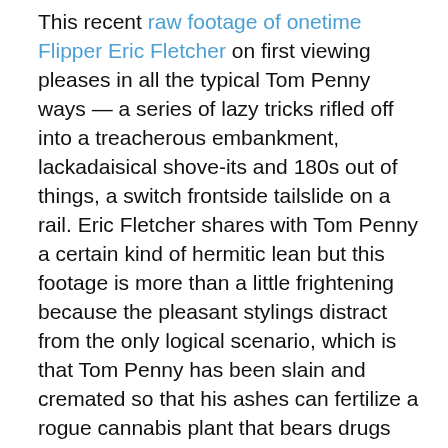This recent raw footage of onetime Flipper Eric Fletcher on first viewing pleases in all the typical Tom Penny ways — a series of lazy tricks rifled off into a treacherous embankment, lackadaisical shove-its and 180s out of things, a switch frontside tailslide on a rail. Eric Fletcher shares with Tom Penny a certain kind of hermitic lean but this footage is more than a little frightening because the pleasant stylings distract from the only logical scenario, which is that Tom Penny has been slain and cremated so that his ashes can fertilize a rogue cannabis plant that bears drugs which, when smoked, imbue the damnable toker with Tom Penny's knowledge and powers. At the time of this blogging Eric Fletcher is believed to be on the loose and armed with a psychic bong that owns mystical powers and a rap CD.